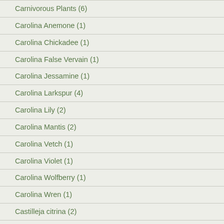Carnivorous Plants (6)
Carolina Anemone (1)
Carolina Chickadee (1)
Carolina False Vervain (1)
Carolina Jessamine (1)
Carolina Larkspur (4)
Carolina Lily (2)
Carolina Mantis (2)
Carolina Vetch (1)
Carolina Violet (1)
Carolina Wolfberry (1)
Carolina Wren (1)
Castilleja citrina (2)
Castilleja indivisa (1)
Castilleja integra (1)